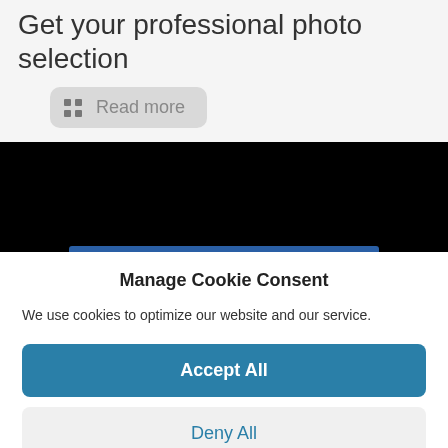Get your professional photo selection
Read more
[Figure (screenshot): Black banner area with a blue indicator bar at the bottom center]
Manage Cookie Consent
We use cookies to optimize our website and our service.
Accept All
Deny All
Preferences